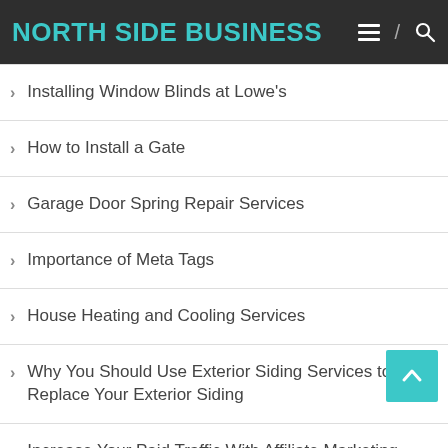NORTH SIDE BUSINESS
Installing Window Blinds at Lowe's
How to Install a Gate
Garage Door Spring Repair Services
Importance of Meta Tags
House Heating and Cooling Services
Why You Should Use Exterior Siding Services to Replace Your Exterior Siding
Increase Your Paid Traffic With Affiliate Marketing Channels
Effective Tips on How to Remove Popcorn Ceiling
Business Cash Flow Finance – How Can I Obtain It?
Asbestos Disposal